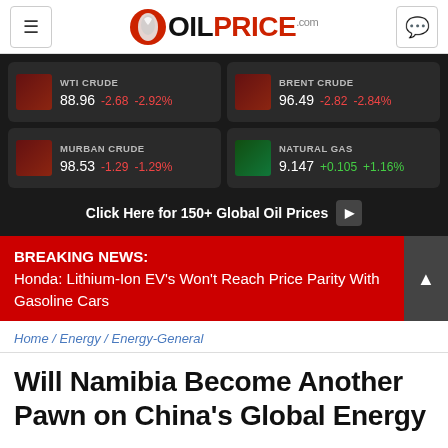OILPRICE.com
| Commodity | Price | Change | % Change |
| --- | --- | --- | --- |
| WTI CRUDE | 88.96 | -2.68 | -2.92% |
| BRENT CRUDE | 96.49 | -2.82 | -2.84% |
| MURBAN CRUDE | 98.53 | -1.29 | -1.29% |
| NATURAL GAS | 9.147 | +0.105 | +1.16% |
Click Here for 150+ Global Oil Prices
BREAKING NEWS: Honda: Lithium-Ion EV's Won't Reach Price Parity With Gasoline Cars
Home / Energy / Energy-General
Will Namibia Become Another Pawn on China's Global Energy